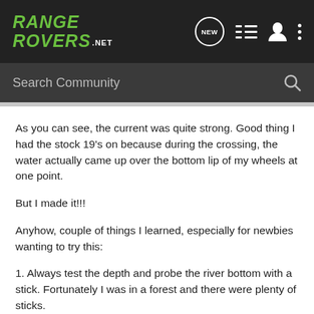RANGE ROVERS .NET
As you can see, the current was quite strong. Good thing I had the stock 19's on because during the crossing, the water actually came up over the bottom lip of my wheels at one point.
But I made it!!!
Anyhow, couple of things I learned, especially for newbies wanting to try this:
1. Always test the depth and probe the river bottom with a stick. Fortunately I was in a forest and there were plenty of sticks.
2. There’s no water fording icon on the terrain selector knob :evil: . This threw me for bit so I pulled out the manual to check